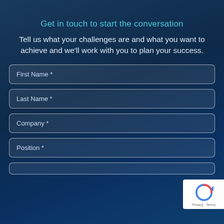Get in touch to start the conversation
Tell us what your challenges are and what you want to achieve and we'll work with you to plan your success.
First Name *
Last Name *
Company *
Position *
[Figure (other): reCAPTCHA badge with circular arrow logo and Privacy - Terms links]